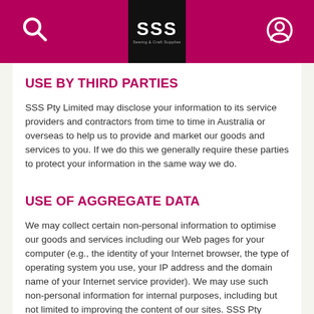SSS Sewing & Craft Supplies — header navigation bar with search icon, SSS logo, and user icon
USE BY THIRD PARTIES
SSS Pty Limited may disclose your information to its service providers and contractors from time to time in Australia or overseas to help us to provide and market our goods and services to you. If we do this we generally require these parties to protect your information in the same way we do.
USE OF AGGREGATE DATA
We may collect certain non-personal information to optimise our goods and services including our Web pages for your computer (e.g., the identity of your Internet browser, the type of operating system you use, your IP address and the domain name of your Internet service provider). We may use such non-personal information for internal purposes, including but not limited to improving the content of our sites. SSS Pty Limited may use personally identifiable information in aggregate form to improve our goods and services